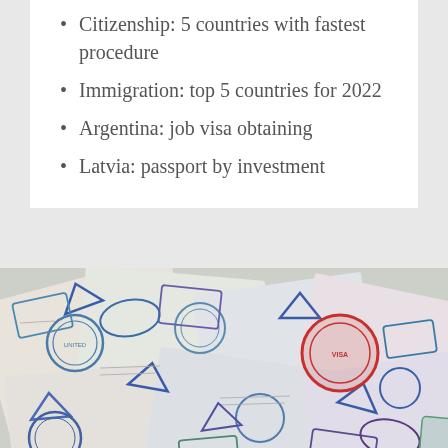Citizenship: 5 countries with fastest procedure
Immigration: top 5 countries for 2022
Argentina: job visa obtaining
Latvia: passport by investment
[Figure (photo): Open passports and travel documents covered with colorful immigration stamps and visa pages from various countries, spread out in an overlapping collage]